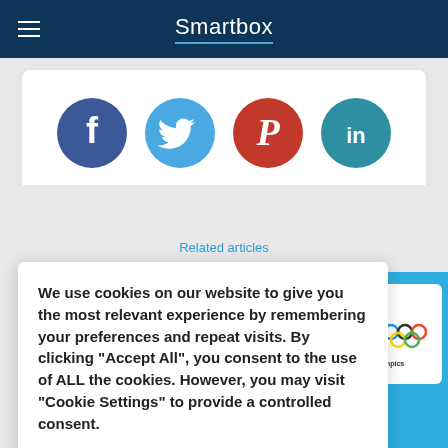Smartbox
[Figure (infographic): Social media share buttons: Facebook (dark blue circle with f), Twitter (light blue circle with bird), Pinterest (red circle with P), LinkedIn (teal circle with in)]
We use cookies on our website to give you the most relevant experience by remembering your preferences and repeat visits. By clicking "Accept All", you consent to the use of ALL the cookies. However, you may visit "Cookie Settings" to provide a controlled consent.
Cookie Settings    Accept All